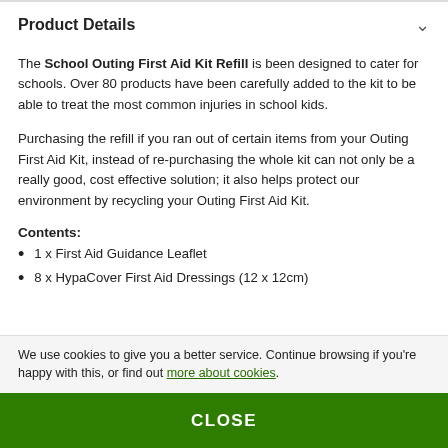Product Details
The School Outing First Aid Kit Refill is been designed to cater for schools. Over 80 products have been carefully added to the kit to be able to treat the most common injuries in school kids.
Purchasing the refill if you ran out of certain items from your Outing First Aid Kit, instead of re-purchasing the whole kit can not only be a really good, cost effective solution; it also helps protect our environment by recycling your Outing First Aid Kit.
Contents:
1 x First Aid Guidance Leaflet
8 x HypaCover First Aid Dressings (12 x 12cm)
We use cookies to give you a better service. Continue browsing if you're happy with this, or find out more about cookies.
CLOSE